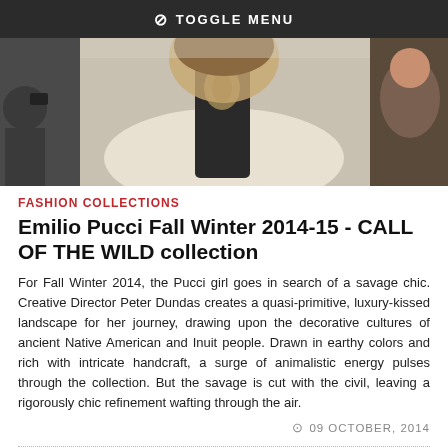TOGGLE MENU
[Figure (photo): Fashion runway photo showing a model in a white fur coat with decorative printed panel, surrounded by audience members with cameras]
FASHION COLLECTIONS
Emilio Pucci Fall Winter 2014-15 - CALL OF THE WILD collection
For Fall Winter 2014, the Pucci girl goes in search of a savage chic. Creative Director Peter Dundas creates a quasi-primitive, luxury-kissed landscape for her journey, drawing upon the decorative cultures of ancient Native American and Inuit people. Drawn in earthy colors and rich with intricate handcraft, a surge of animalistic energy pulses through the collection. But the savage is cut with the civil, leaving a rigorously chic refinement wafting through the air.
09 OCTOBER, 2014
[Figure (photo): Partial thumbnail of a fashion runway photo at the bottom of the page]